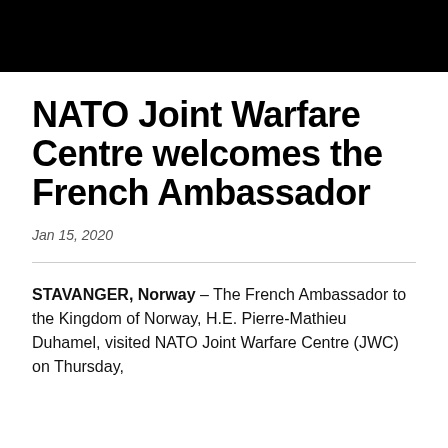NATO Joint Warfare Centre welcomes the French Ambassador
Jan 15, 2020
STAVANGER, Norway – The French Ambassador to the Kingdom of Norway, H.E. Pierre-Mathieu Duhamel, visited NATO Joint Warfare Centre (JWC) on Thursday,